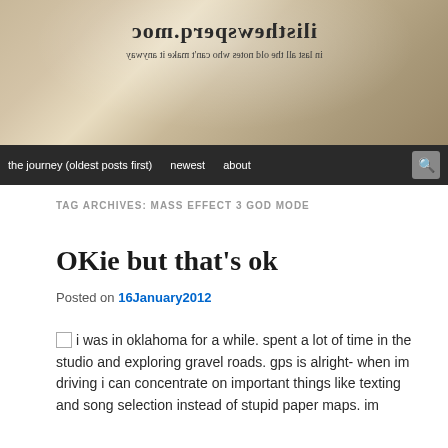[Figure (photo): Header photo showing a reflective or mirrored surface with text reflected — appears to be a bag or plastic wrap showing a website name mirrored, with tagline text below it.]
TAG ARCHIVES: MASS EFFECT 3 GOD MODE
OKie but that's ok
Posted on 16January2012
i was in oklahoma for a while. spent a lot of time in the studio and exploring gravel roads. gps is alright- when im driving i can concentrate on important things like texting and song selection instead of stupid paper maps. im